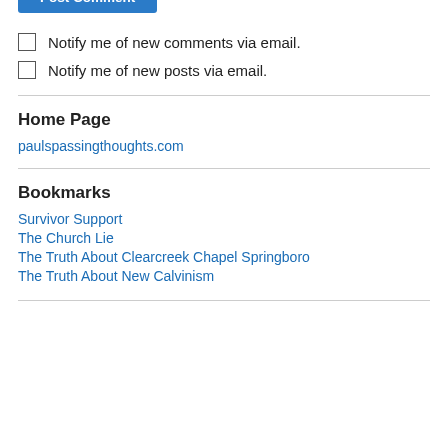Post Comment
Notify me of new comments via email.
Notify me of new posts via email.
Home Page
paulspassingthoughts.com
Bookmarks
Survivor Support
The Church Lie
The Truth About Clearcreek Chapel Springboro
The Truth About New Calvinism